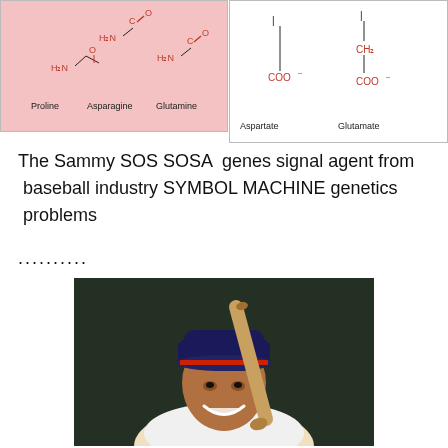[Figure (schematic): Chemical structure diagrams of amino acids: Proline, Asparagine, Glutamine (left panel, pink background), and Aspartate, Glutamate (right panel, white background)]
The Sammy SOS SOSA genes signal agent from baseball industry SYMBOL MACHINE genetics problems
..........
[Figure (photo): Photo of Sammy Sosa smiling, wearing a baseball cap and uniform, holding a baseball bat]